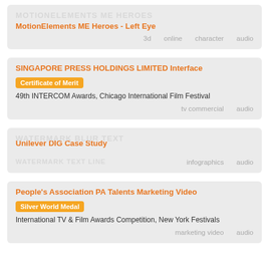MotionElements ME Heroes - Left Eye | 3d | online | character | audio
SINGAPORE PRESS HOLDINGS LIMITED Interface | Certificate of Merit | 49th INTERCOM Awards, Chicago International Film Festival | tv commercial | audio
Unilever DIG Case Study | infographics | audio
People's Association PA Talents Marketing Video | Silver World Medal | International TV & Film Awards Competition, New York Festivals | marketing video | audio